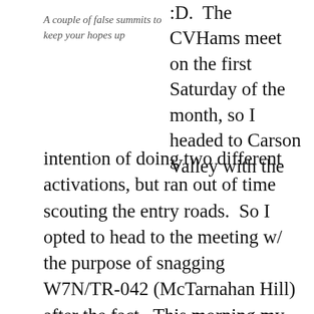A couple of false summits to keep your hopes up
:D.  The CVHams meet on the first Saturday of the month, so I headed to Carson Valley with the intention of doing two different activations, but ran out of time scouting the entry roads.  So I opted to head to the meeting w/ the purpose of snagging W7N/TR-042 (McTarnahan Hill) after the fact.  This morning my goal was to hit that peak before the meeting, but yah those NV back roads are in rough shape from winter.  Anyway that said, I managed to get within 1/2 mile from the backside of the peak, but if you went up the front side from Carson City side, and had a Quad/Motorcycle you can make it to 20 feet